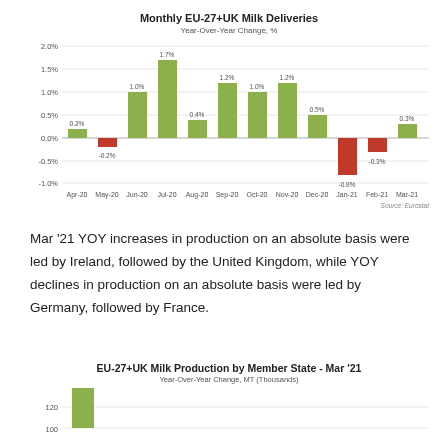[Figure (bar-chart): Monthly EU-27+UK Milk Deliveries]
Mar '21 YOY increases in production on an absolute basis were led by Ireland, followed by the United Kingdom, while YOY declines in production on an absolute basis were led by Germany, followed by France.
[Figure (bar-chart): EU-27+UK Milk Production by Member State - Mar '21]